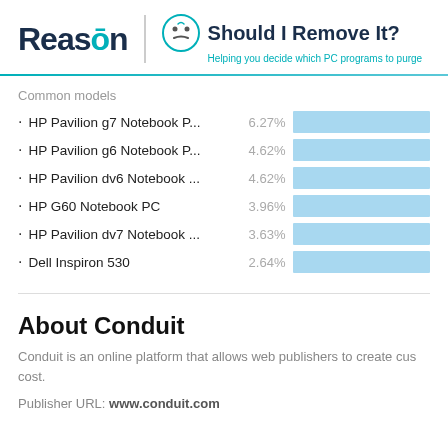Reason | Should I Remove It? — Helping you decide which PC programs to purge
Common models
[Figure (bar-chart): Common models]
About Conduit
Conduit is an online platform that allows web publishers to create cus... cost.
Publisher URL: www.conduit.com